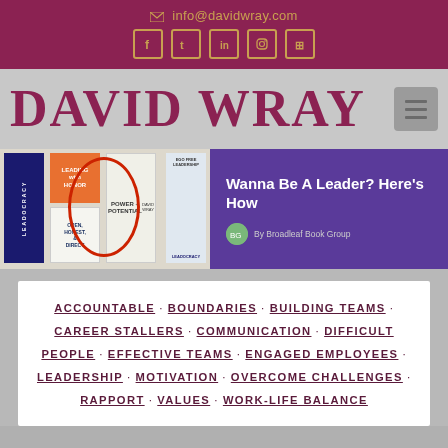info@davidwray.com
DAVID WRAY
[Figure (screenshot): Banner showing book covers including 'Power + Potential', 'Leading with Honor', 'Open, Honest, & Direct', with a red circle highlighting 'Power + Potential'. Right side shows purple background with text 'Wanna Be A Leader? Here's How' and 'By Broadleaf Book Group'.]
ACCOUNTABLE · BOUNDARIES · BUILDING TEAMS · CAREER STALLERS · COMMUNICATION · DIFFICULT PEOPLE · EFFECTIVE TEAMS · ENGAGED EMPLOYEES · LEADERSHIP · MOTIVATION · OVERCOME CHALLENGES · RAPPORT · VALUES · WORK-LIFE BALANCE